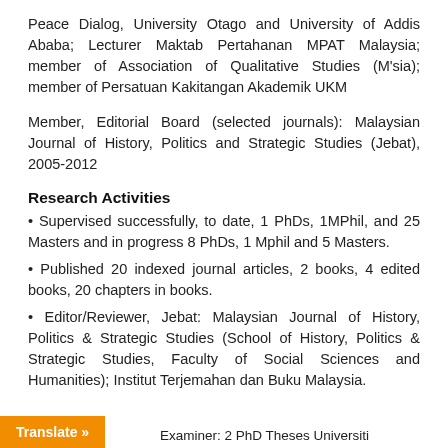Peace Dialog, University Otago and University of Addis Ababa; Lecturer Maktab Pertahanan MPAT Malaysia; member of Association of Qualitative Studies (M'sia); member of Persatuan Kakitangan Akademik UKM
Member, Editorial Board (selected journals): Malaysian Journal of History, Politics and Strategic Studies (Jebat), 2005-2012
Research Activities
• Supervised successfully, to date, 1 PhDs, 1MPhil, and 25 Masters and in progress 8 PhDs, 1 Mphil and 5 Masters.
• Published 20 indexed journal articles, 2 books, 4 edited books, 20 chapters in books.
• Editor/Reviewer, Jebat: Malaysian Journal of History, Politics & Strategic Studies (School of History, Politics & Strategic Studies, Faculty of Social Sciences and Humanities); Institut Terjemahan dan Buku Malaysia.
Examiner: 2 PhD Theses Universiti